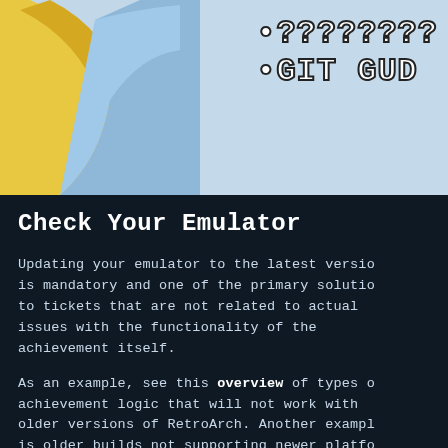[Figure (illustration): Meme image with a cartoon character arm/hand gesturing, light blue background, with bullet text reading '•????????' and '•GIT GUD' in bold white monospace font with dark outline]
Check Your Emulator
Updating your emulator to the latest version is mandatory and one of the primary solutions to tickets that are not related to actual issues with the functionality of the achievement itself.
As an example, see this overview of types of achievement logic that will not work with older versions of RetroArch. Another example is older builds not supporting newer platforms (such as Dreamcast or the upcoming PS2, at